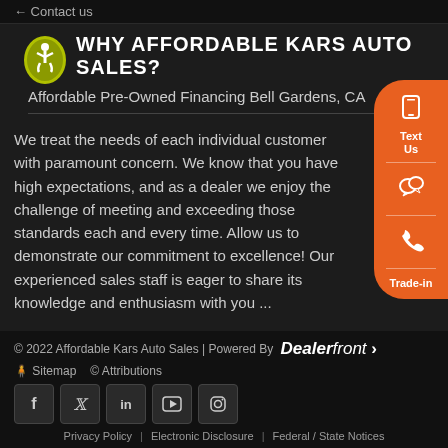Contact us
WHY AFFORDABLE KARS AUTO SALES?
Affordable Pre-Owned Financing Bell Gardens, CA
We treat the needs of each individual customer with paramount concern. We know that you have high expectations, and as a dealer we enjoy the challenge of meeting and exceeding those standards each and every time. Allow us to demonstrate our commitment to excellence! Our experienced sales staff is eager to share its knowledge and enthusiasm with you ...
[Figure (infographic): Floating orange sidebar with phone icon and Text Us label, chat icon, phone icon, and Trade-in label]
© 2022 Affordable Kars Auto Sales | Powered By Dealerfront
Sitemap   Attributions
Social media icons: Facebook, Twitter, LinkedIn, YouTube, Instagram
Privacy Policy | Electronic Disclosure | Federal / State Notices